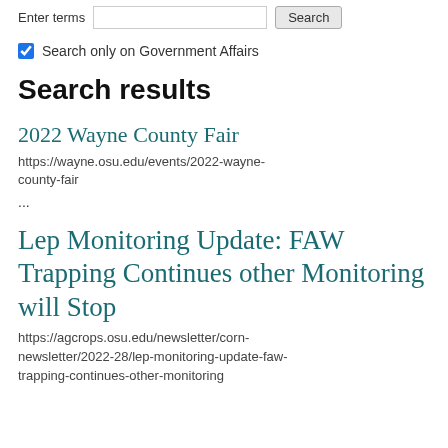Enter terms [input] Search
Search only on Government Affairs
Search results
2022 Wayne County Fair
https://wayne.osu.edu/events/2022-wayne-county-fair
...
Lep Monitoring Update: FAW Trapping Continues other Monitoring will Stop
https://agcrops.osu.edu/newsletter/corn-newsletter/2022-28/lep-monitoring-update-faw-trapping-continues-other-monitoring